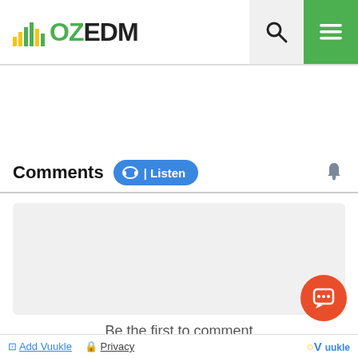[Figure (logo): OZEDM logo with colorful bar chart icon in yellow and green to the left of the text OZEDM]
[Figure (screenshot): Search icon (magnifying glass) on light grey background]
[Figure (screenshot): Hamburger menu icon (three horizontal lines) on green background]
Comments
[Figure (screenshot): Blue pill-shaped Listen button with headphone icon]
[Figure (screenshot): Bell notification icon]
Be the first to comment
Add Vuukle   Privacy
[Figure (logo): Vuukle logo in yellow and blue at bottom right]